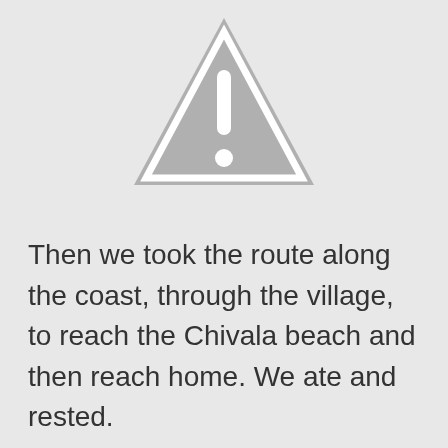[Figure (illustration): Gray warning triangle icon with exclamation mark, partially cropped at the top of the page]
Then we took the route along the coast, through the village, to reach the Chivala beach and then reach home. We ate and rested.